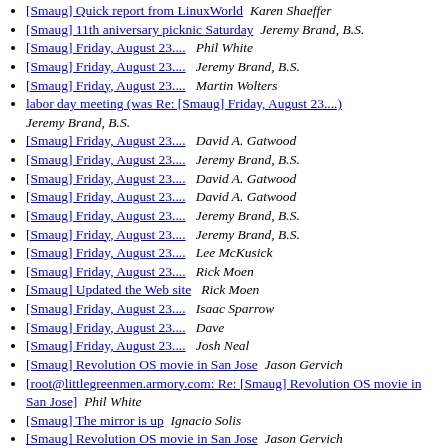[Smaug] Quick report from LinuxWorld  Karen Shaeffer
[Smaug] 11th aniversary picknic Saturday  Jeremy Brand, B.S.
[Smaug] Friday, August 23....  Phil White
[Smaug] Friday, August 23....  Jeremy Brand, B.S.
[Smaug] Friday, August 23....  Martin Wolters
labor day meeting (was Re: [Smaug] Friday, August 23....)  Jeremy Brand, B.S.
[Smaug] Friday, August 23....  David A. Gatwood
[Smaug] Friday, August 23....  Jeremy Brand, B.S.
[Smaug] Friday, August 23....  David A. Gatwood
[Smaug] Friday, August 23....  David A. Gatwood
[Smaug] Friday, August 23....  Jeremy Brand, B.S.
[Smaug] Friday, August 23....  Jeremy Brand, B.S.
[Smaug] Friday, August 23....  Lee McKusick
[Smaug] Friday, August 23....  Rick Moen
[Smaug] Updated the Web site  Rick Moen
[Smaug] Friday, August 23....  Isaac Sparrow
[Smaug] Friday, August 23....  Dave
[Smaug] Friday, August 23....  Josh Neal
[Smaug] Revolution OS movie in San Jose  Jason Gervich
[root@littlegreenmen.armory.com: Re: [Smaug] Revolution OS movie in San Jose]  Phil White
[Smaug] The mirror is up  Ignacio Solis
[Smaug] Revolution OS movie in San Jose  Jason Gervich